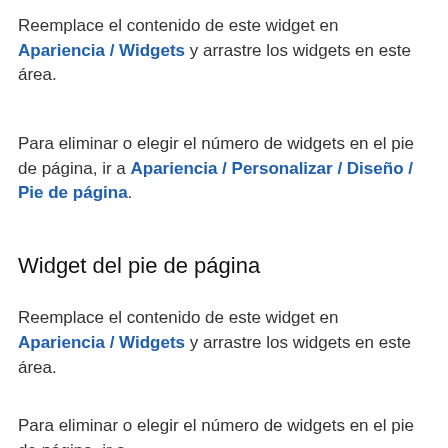Reemplace el contenido de este widget en Apariencia / Widgets y arrastre los widgets en este área.
Para eliminar o elegir el número de widgets en el pie de página, ir a Apariencia / Personalizar / Diseño / Pie de página.
Widget del pie de página
Reemplace el contenido de este widget en Apariencia / Widgets y arrastre los widgets en este área.
Para eliminar o elegir el número de widgets en el pie de página, ir a